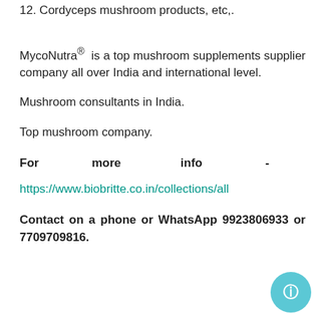12. Cordyceps mushroom products, etc,.
MycoNutra®  is a top mushroom supplements supplier company all over India and international level.
Mushroom consultants in India.
Top mushroom company.
For more info -
https://www.biobritte.co.in/collections/all
Contact on a phone or WhatsApp 9923806933 or 7709709816.